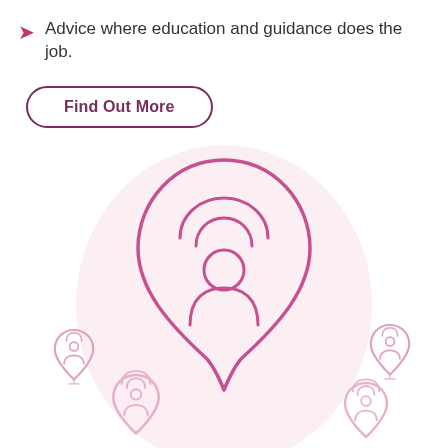Advice where education and guidance does the job.
Find Out More
[Figure (illustration): A large location pin icon with a person silhouette inside, surrounded by concentric arc lines, set against a light pink background. Several smaller location pin icons with person silhouettes are scattered around the edges of the illustration.]